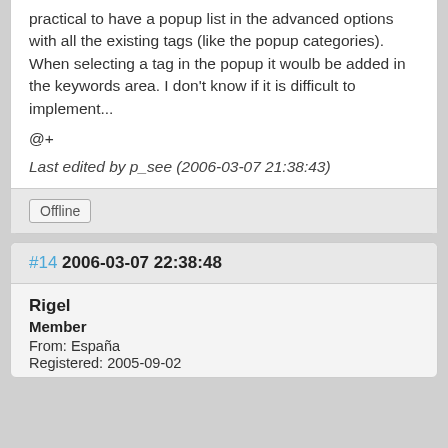practical to have a popup list in the advanced options with all the existing tags (like the popup categories). When selecting a tag in the popup it woulb be added in the keywords area. I don't know if it is difficult to implement...
@+
Last edited by p_see (2006-03-07 21:38:43)
Offline
#14  2006-03-07 22:38:48
Rigel
Member
From: España
Registered: 2005-09-02